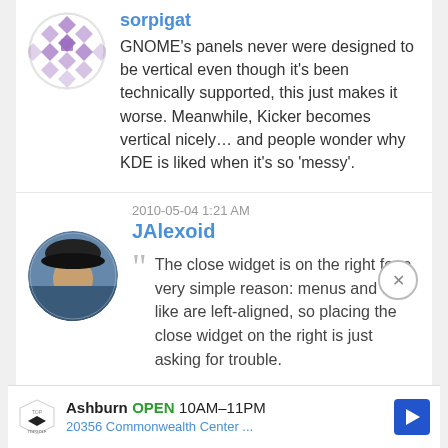[Figure (illustration): Purple decorative avatar with diamond/checkerboard pattern in a circle]
sorpigat
GNOME's panels never were designed to be vertical even though it's been technically supported, this just makes it worse. Meanwhile, Kicker becomes vertical nicely… and people wonder why KDE is liked when it's so 'messy'.
[Figure (photo): Photo of a person wearing a hat, circular avatar]
2010-05-04 1:21 AM
JAlexoid
The close widget is on the right for a very simple reason: menus and the like are left-aligned, so placing the close widget on the right is just asking for trouble.
Menus, as we know them are just horrible concepts and I would be in favor of having
[Figure (infographic): Advertisement banner for TopGolf Ashburn showing OPEN 10AM-11PM, 20356 Commonwealth Center ...]